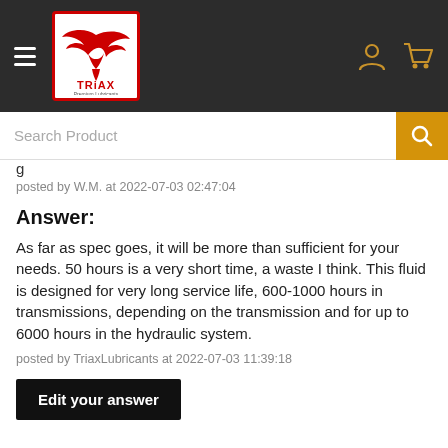[Figure (logo): TRIAX Premium Lubricants logo with red eagle and red border in white box on dark navigation bar]
Search Product
posted by W.M. at 2022-07-03 02:47:04
Answer:
As far as spec goes, it will be more than sufficient for your needs. 50 hours is a very short time, a waste I think. This fluid is designed for very long service life, 600-1000 hours in transmissions, depending on the transmission and for up to 6000 hours in the hydraulic system.
posted by TriaxLubricants at 2022-07-03 11:39:18
Edit your answer